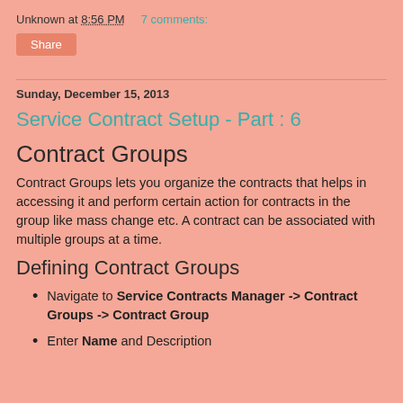Unknown at 8:56 PM    7 comments:
Share
Sunday, December 15, 2013
Service Contract Setup - Part : 6
Contract Groups
Contract Groups lets you organize the contracts that helps in accessing it and perform certain action for contracts in the group like mass change etc. A contract can be associated with multiple groups at a time.
Defining Contract Groups
Navigate to Service Contracts Manager -> Contract Groups -> Contract Group
Enter Name and Description